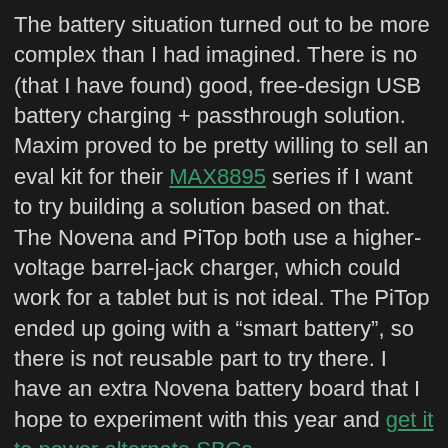The battery situation turned out to be more complex than I had imagined. There is no (that I have found) good, free-design USB battery charging + passthrough solution. Maxim proved to be pretty willing to sell an eval kit for their MAX8895 series if I want to try building a solution based on that. The Novena and PiTop both use a higher-voltage barrel-jack charger, which could work for a tablet but is not ideal. The PiTop ended up going with a “smart battery”, so there is not reusable part to try there. I have an extra Novena battery board that I hope to experiment with this year and get it to power alternate SBCs.
I also got distracted this year, not least of all by my Free Culture project which resulted in a (very) small-run print of the Big Buck Bunny Board Book, of which I gave one to my niece for Christmas.
Also making good-looking progress is LKCL’s projects at rhombus-tech. While he has some strange ideas, he seems very close to executing on the laptop design and has been